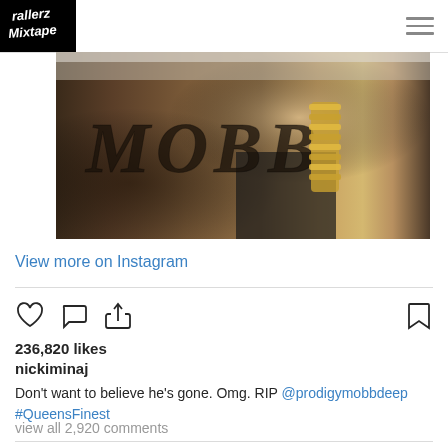rallerz mixtape (logo) | hamburger menu
[Figure (photo): Close-up photo of a forearm with 'MOBB' tattoo in large gothic letters, with gold chain bracelet on the wrist, person wearing white and black clothing]
View more on Instagram
236,820 likes
nickiminaj
Don't want to believe he's gone. Omg. RIP @prodigymobbdeep #QueensFinest
view all 2,920 comments